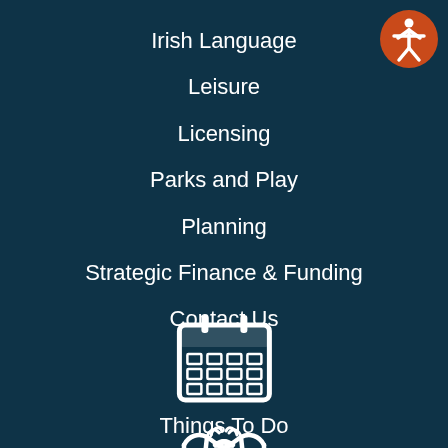Irish Language
Leisure
Licensing
Parks and Play
Planning
Strategic Finance & Funding
Contact Us
[Figure (illustration): White calendar icon on dark teal background]
Things To Do
[Figure (illustration): White handshake icon on dark teal background]